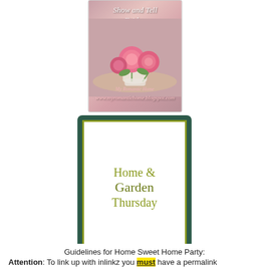[Figure (illustration): Show and Tell Friday badge with pink roses in a vase on a decorative background, with cursive text overlay reading 'Show and Tell Friday' and 'My Romantic Home']
[Figure (illustration): Home & Garden Thursday badge with dark green outer border and olive/gold inner border on white background, displaying 'Home & Garden Thursday' in decorative serif font]
Guidelines for Home Sweet Home Party:
Attention: To link up with inlinkz you must have a permalink